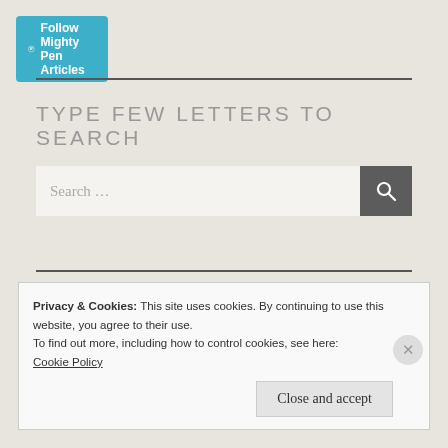[Figure (other): WordPress Follow button: circular W icon with 'Follow Mighty Pen Articles' text on teal/blue background]
TYPE FEW LETTERS TO SEARCH
[Figure (screenshot): Search input box with placeholder 'Search ...' and dark grey search icon button on right]
Privacy & Cookies: This site uses cookies. By continuing to use this website, you agree to their use.
To find out more, including how to control cookies, see here:
Cookie Policy
Close and accept